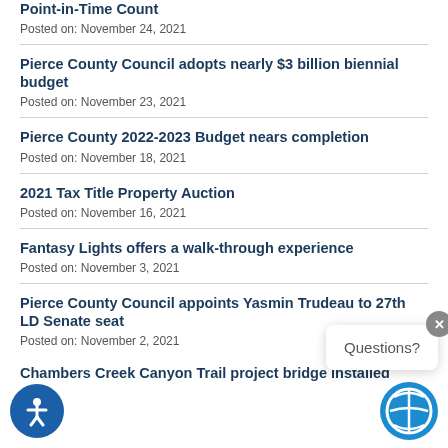Point-in-Time Count
Posted on: November 24, 2021
Pierce County Council adopts nearly $3 billion biennial budget
Posted on: November 23, 2021
Pierce County 2022-2023 Budget nears completion
Posted on: November 18, 2021
2021 Tax Title Property Auction
Posted on: November 16, 2021
Fantasy Lights offers a walk-through experience
Posted on: November 3, 2021
Pierce County Council appoints Yasmin Trudeau to 27th LD Senate seat
Posted on: November 2, 2021
Chambers Creek Canyon Trail project bridge installed